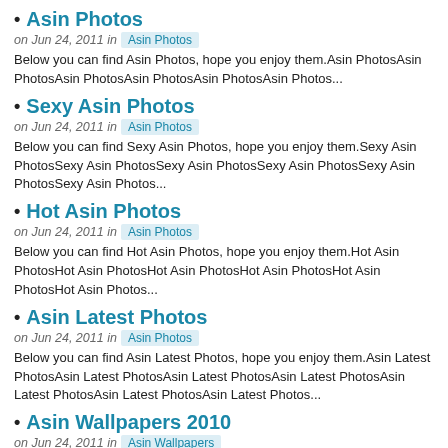Asin Photos
on Jun 24, 2011 in Asin Photos
Below you can find Asin Photos, hope you enjoy them.Asin PhotosAsin PhotosAsin PhotosAsin PhotosAsin PhotosAsin Photos...
Sexy Asin Photos
on Jun 24, 2011 in Asin Photos
Below you can find Sexy Asin Photos, hope you enjoy them.Sexy Asin PhotosSexy Asin PhotosSexy Asin PhotosSexy Asin PhotosSexy Asin PhotosSexy Asin Photos...
Hot Asin Photos
on Jun 24, 2011 in Asin Photos
Below you can find Hot Asin Photos, hope you enjoy them.Hot Asin PhotosHot Asin PhotosHot Asin PhotosHot Asin PhotosHot Asin PhotosHot Asin Photos...
Asin Latest Photos
on Jun 24, 2011 in Asin Photos
Below you can find Asin Latest Photos, hope you enjoy them.Asin Latest PhotosAsin Latest PhotosAsin Latest PhotosAsin Latest PhotosAsin Latest PhotosAsin Latest PhotosAsin Latest Photos...
Asin Wallpapers 2010
on Jun 24, 2011 in Asin Wallpapers
Below you can find Asin Wallpapers 2010 to decorate your desktop, hope you like them. I'll be updating the blog with latest Asin Wallpapers 2010 as often as possible.Asin Wallpapers 2010Asin Wallpapers 2010Asin Wallpapers 2010Asin Wallpapers 2010Asin...